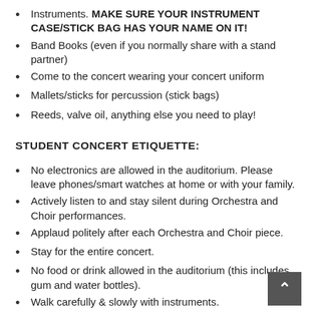Instruments. MAKE SURE YOUR INSTRUMENT CASE/STICK BAG HAS YOUR NAME ON IT!
Band Books (even if you normally share with a stand partner)
Come to the concert wearing your concert uniform
Mallets/sticks for percussion (stick bags)
Reeds, valve oil, anything else you need to play!
STUDENT CONCERT ETIQUETTE:
No electronics are allowed in the auditorium. Please leave phones/smart watches at home or with your family.
Actively listen to and stay silent during Orchestra and Choir performances.
Applaud politely after each Orchestra and Choir piece.
Stay for the entire concert.
No food or drink allowed in the auditorium (this includes gum and water bottles).
Walk carefully & slowly with instruments.